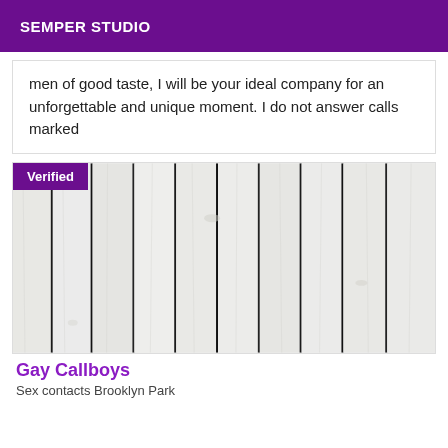SEMPER STUDIO
men of good taste, I will be your ideal company for an unforgettable and unique moment. I do not answer calls marked
[Figure (photo): Photo of white painted wooden planks/boards with a 'Verified' badge in purple on the top left corner]
Gay Callboys
Sex contacts Brooklyn Park